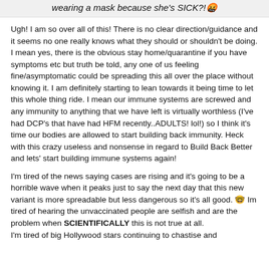wearing a mask because she's SICK?!🤬
Ugh! I am so over all of this! There is no clear direction/guidance and it seems no one really knows what they should or shouldn't be doing.
I mean yes, there is the obvious stay home/quarantine if you have symptoms etc but truth be told, any one of us feeling fine/asymptomatic could be spreading this all over the place without knowing it. I am definitely starting to lean towards it being time to let this whole thing ride. I mean our immune systems are screwed and any immunity to anything that we have left is virtually worthless (I've had DCP's that have had HFM recently..ADULTS! lol!) so I think it's time our bodies are allowed to start building back immunity. Heck with this crazy useless and nonsense in regard to Build Back Better and lets' start building immune systems again!
I'm tired of the news saying cases are rising and it's going to be a horrible wave when it peaks just to say the next day that this new variant is more spreadable but less dangerous so it's all good. 🤓 Im tired of hearing the unvaccinated people are selfish and are the problem when SCIENTIFICALLY this is not true at all.
I'm tired of big Hollywood stars continuing to chastise and